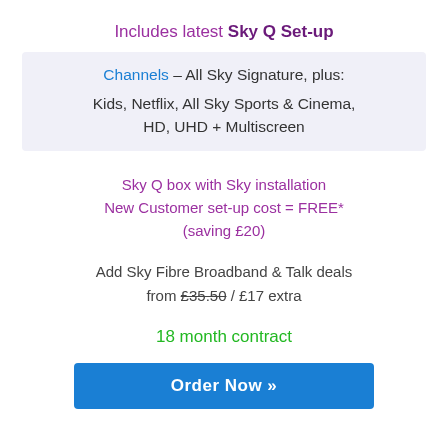Includes latest Sky Q Set-up
Channels – All Sky Signature, plus:
Kids, Netflix, All Sky Sports & Cinema, HD, UHD + Multiscreen
Sky Q box with Sky installation
New Customer set-up cost = FREE*
(saving £20)
Add Sky Fibre Broadband & Talk deals from £35.50 / £17 extra
18 month contract
Order Now »